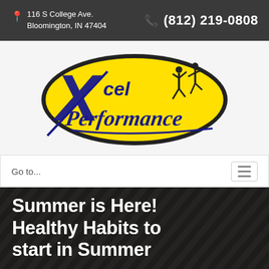116 S College Ave. Bloomington, IN 47404  (812) 219-0808
[Figure (logo): Xcel Performance logo: yellow oval with dark border, blue X and 'cel' text, 'Performance' in blue italic script, silhouette of running athletes]
Go to...
Summer is Here! Healthy Habits to start in Summer